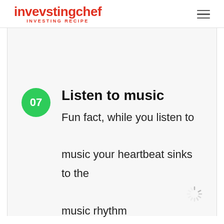invevstingchef INVESTING RECIPE
07 Listen to music Fun fact, while you listen to music your heartbeat sinks to the music rhythm